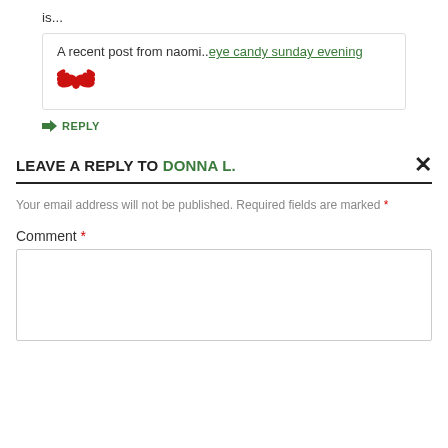is...
A recent post from naomi..eye candy sunday evening
[Figure (illustration): Red bird/wing icon (decorative emoji-style wings icon in red)]
REPLY
LEAVE A REPLY TO DONNA L.
Your email address will not be published. Required fields are marked *
Comment *
[Figure (screenshot): Empty comment text area input box]